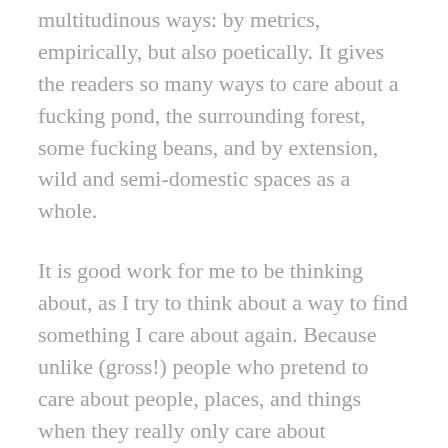multitudinous ways: by metrics, empirically, but also poetically. It gives the readers so many ways to care about a fucking pond, the surrounding forest, some fucking beans, and by extension, wild and semi-domestic spaces as a whole.
It is good work for me to be thinking about, as I try to think about a way to find something I care about again. Because unlike (gross!) people who pretend to care about people, places, and things when they really only care about themselves, I can openly and unapologetically identify being in a moment where I need to care about myself, because I'm losing my ability to care about people, places, and things. You can send me your press release, if you want, but don't try to leverage some sense of personal relationship coincidentally five minutes before you have an art opening. Don't troll my social media looking for things I care about, so you can use them to start conversations that make me feel known. And don't expect me to care about you and your needs